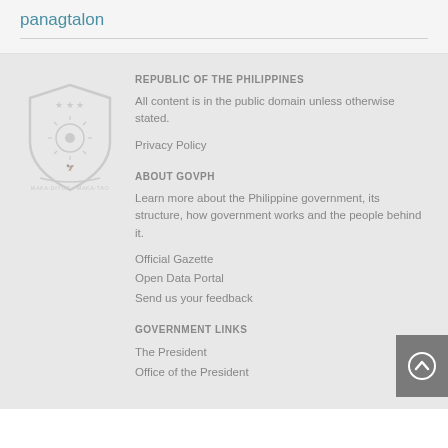panagtalon
REPUBLIC OF THE PHILIPPINES
All content is in the public domain unless otherwise stated.
Privacy Policy
[Figure (logo): Seal of the Republic of the Philippines, light gray watermark]
ABOUT GOVPH
Learn more about the Philippine government, its structure, how government works and the people behind it.
Official Gazette
Open Data Portal
Send us your feedback
GOVERNMENT LINKS
The President
Office of the President